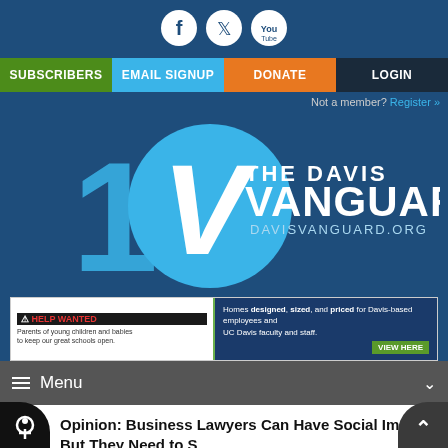[Figure (logo): Social media icons: Facebook, Twitter, YouTube in white circles on dark blue background]
SUBSCRIBERS | EMAIL SIGNUP | DONATE | LOGIN
Not a member? Register »
[Figure (logo): The Davis Vanguard 10th anniversary logo with large '10' and V-shaped emblem on dark blue background. Text: THE DAVIS VANGUARD DAVISVANGUARD.ORG]
[Figure (infographic): Advertisement banner: HELP WANTED - Parents of young children and babies to keep our great schools open. Homes designed, sized, and priced for Davis-based employees and UC Davis faculty and staff. VIEW HERE]
Menu
Opinion: Business Lawyers Can Have Social Impact, But They Need to S